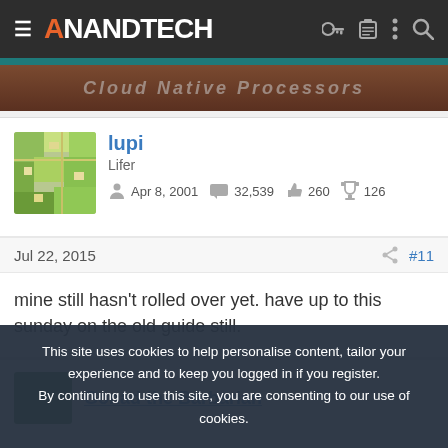AnandTech
[Figure (photo): Partially visible banner image with brown/wooden background and light text, partially obscured by header]
lupi
Lifer
Apr 8, 2001   32,539   260   126
Jul 22, 2015   #11
mine still hasn't rolled over yet. have up to this sunday on the old guide still.
Gonad the Barbarian
This site uses cookies to help personalise content, tailor your experience and to keep you logged in if you register.
By continuing to use this site, you are consenting to our use of cookies.